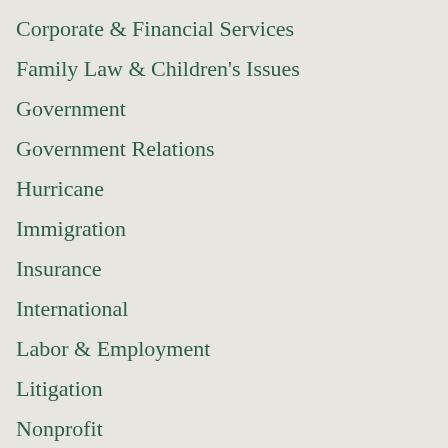Corporate & Financial Services
Family Law & Children's Issues
Government
Government Relations
Hurricane
Immigration
Insurance
International
Labor & Employment
Litigation
Nonprofit
Real Estate